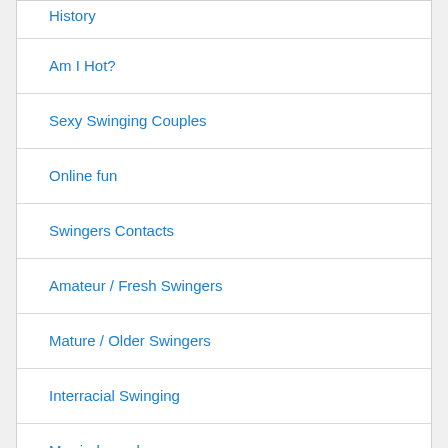History
Am I Hot?
Sexy Swinging Couples
Online fun
Swingers Contacts
Amateur / Fresh Swingers
Mature / Older Swingers
Interracial Swinging
Married couples